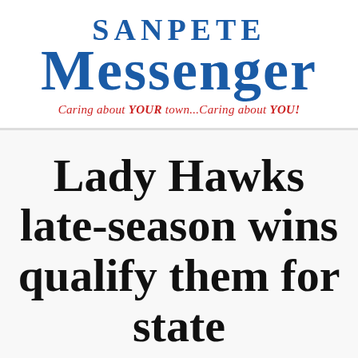SANPETE MESSENGER — Caring about YOUR town...Caring about YOU!
Lady Hawks late-season wins qualify them for state